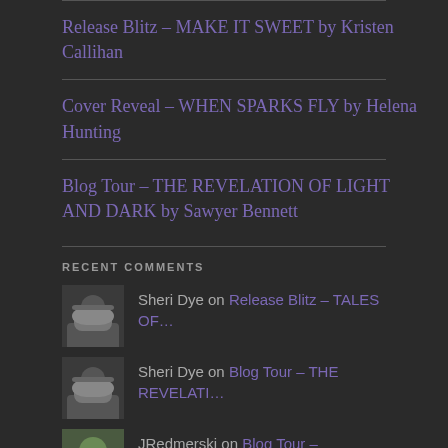Release Blitz – MAKE IT SWEET by Kristen Callihan
Cover Reveal – WHEN SPARKS FLY by Helena Hunting
Blog Tour – THE REVELATION OF LIGHT AND DARK by Sawyer Bennett
RECENT COMMENTS
Sheri Dye on Release Blitz – TALES OF…
Sheri Dye on Blog Tour – THE REVELATI…
JRedmerski on Blog Tour – EVERYTHING